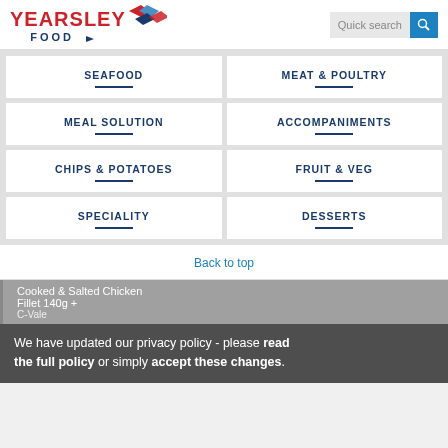[Figure (logo): Yearsley Food logo with red text and diamond arrows]
Quick search
SEAFOOD
MEAT & POULTRY
MEAL SOLUTION
ACCOMPANIMENTS
CHIPS & POTATOES
FRUIT & VEG
SPECIALITY
DESSERTS
Back to top
Cooked & Salted Chicken Fillet 140g +
C-Vale
Origin of Brazil
We have updated our privacy policy - please read the full policy or simply accept these changes.